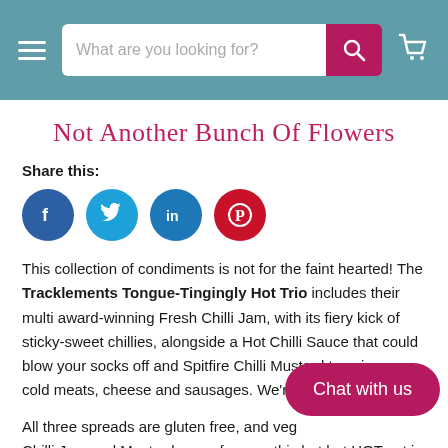What are you looking for?
Not Another Bunch Of Flowers
Share this:
[Figure (other): Social media share icons: Facebook (blue circle with f), Twitter (light blue circle with bird), LinkedIn (blue circle with in), Pinterest (red circle with P)]
This collection of condiments is not for the faint hearted! The Tracklements Tongue-Tingingly Hot Trio includes their multi award-winning Fresh Chilli Jam, with its fiery kick of sticky-sweet chillies, alongside a Hot Chilli Sauce that could blow your socks off and Spitfire Chilli Mustard to spice up cold meats, cheese and sausages. We're drooling already!
All three spreads are gluten free, and veg... Chilli Jam and Mustard worry free, so this hot hot HOT set is suitable for the whole family.